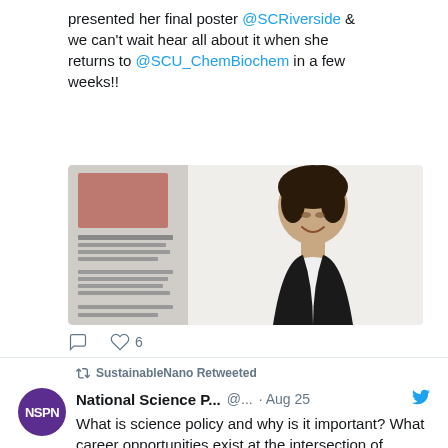presented her final poster @SCRiverside & we can't wait hear all about it when she returns to @SCU_ChemBiochem in a few weeks!!
[Figure (photo): Photo of a young woman smiling, standing in front of a research poster at a conference]
SustainableNano Retweeted
National Science P... @... · Aug 25 — What is science policy and why is it important? What career opportunities exist at the intersection of science and society? Join NSPN on September 1 at 2:15pm ET for a crash course in #SciPol!